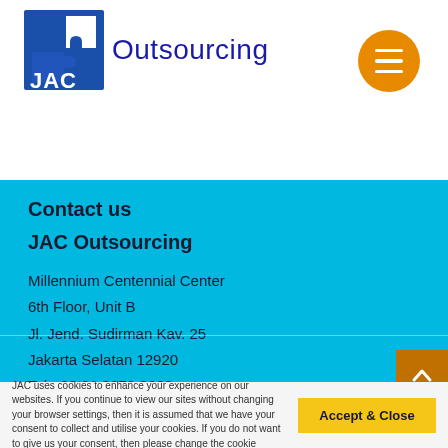[Figure (logo): JAC Outsourcing logo with puzzle piece icon in blue and white, followed by text 'JAC Outsourcing' in blue]
Contact us
JAC Outsourcing
Millennium Centennial Center
6th Floor, Unit B
Jl. Jend. Sudirman Kav. 25
Jakarta Selatan 12920
Tel +62 21 3970 3663
Email indonesia@jac-outsourcing.co.id
JAC uses cookies to enhance your experience on our websites. If you continue to view our sites without changing your browser settings, then it is assumed that we have your consent to collect and utilise your cookies. If you do not want to give us your consent, then please change the cookie